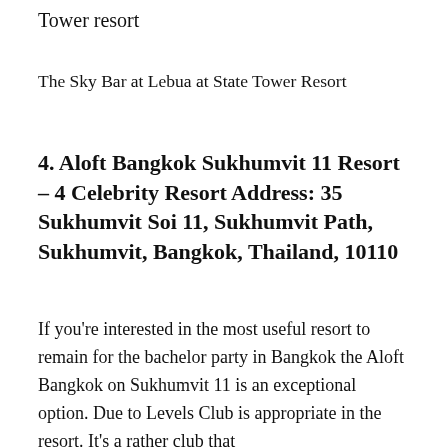Tower resort
The Sky Bar at Lebua at State Tower Resort
4. Aloft Bangkok Sukhumvit 11 Resort – 4 Celebrity Resort Address: 35 Sukhumvit Soi 11, Sukhumvit Path, Sukhumvit, Bangkok, Thailand, 10110
If you're interested in the most useful resort to remain for the bachelor party in Bangkok the Aloft Bangkok on Sukhumvit 11 is an exceptional option. Due to Levels Club is appropriate in the resort. It's a rather club that is popular by the adventure.